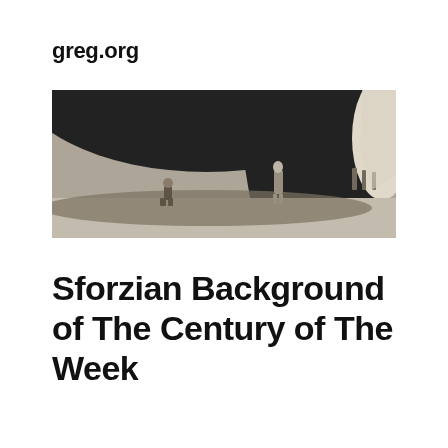greg.org
[Figure (photo): Black and white photograph showing the underside of a large dark structure (possibly an aircraft or large vessel hull), with two small human figures standing beneath it on a light-colored ground. The scene is industrial in nature.]
Sforzian Background of The Century of The Week